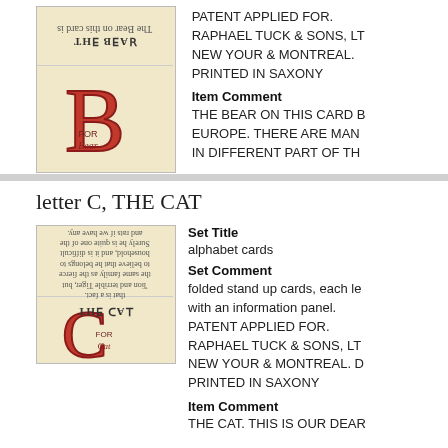[Figure (photo): Alphabet card showing letter B for Bear - top panel with reversed text 'THE BEAR' and bottom panel with large red letter B with 'FOR BEAR' text]
PATENT APPLIED FOR. RAPHAEL TUCK & SONS, LT NEW YOUR & MONTREAL. PRINTED IN SAXONY
Item Comment
THE BEAR ON THIS CARD B EUROPE. THERE ARE MAN IN DIFFERENT PART OF TH
letter C, THE CAT
Set Title
alphabet cards
Set Comment
folded stand up cards, each le with an information panel. PATENT APPLIED FOR. RAPHAEL TUCK & SONS, LT NEW YOUR & MONTREAL. D PRINTED IN SAXONY
Item Comment
THE CAT. THIS IS OUR DEAR
[Figure (photo): Alphabet card showing letter C for Cat - top panel with reversed text 'THE CAT' and bottom panel with large red letter C with 'FOR CAT' text]